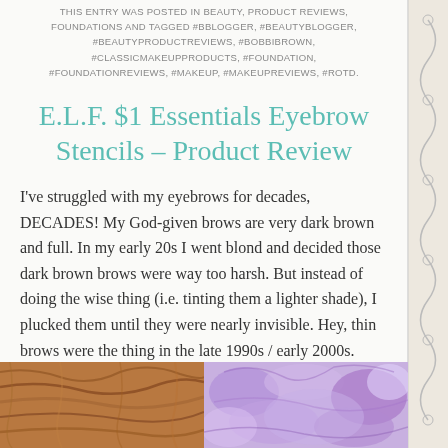THIS ENTRY WAS POSTED IN BEAUTY, PRODUCT REVIEWS, FOUNDATIONS AND TAGGED #BBLOGGER, #BEAUTYBLOGGER, #BEAUTYPRODUCTREVIEWS, #BOBBIBROWN, #CLASSICMAKEUPPRODUCTS, #FOUNDATION, #FOUNDATIONREVIEWS, #MAKEUP, #MAKEUPREVIEWS, #ROTD.
E.L.F. $1 Essentials Eyebrow Stencils – Product Review
I've struggled with my eyebrows for decades, DECADES! My God-given brows are very dark brown and full. In my early 20s I went blond and decided those dark brown brows were way too harsh. But instead of doing the wise thing (i.e. tinting them a lighter shade), I plucked them until they were nearly invisible. Hey, thin brows were the thing in the late 1990s / early 2000s. Still, when I look back at pics of myself from those years, I shudder. My whole face looks weird.
[Figure (photo): Two photos side by side: left shows auburn/brown hair, right shows purple/lavender fluffy material or feathers]